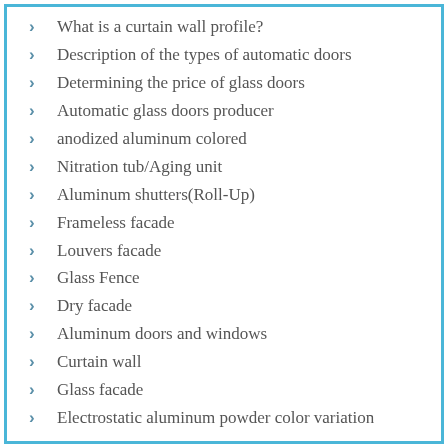What is a curtain wall profile?
Description of the types of automatic doors
Determining the price of glass doors
Automatic glass doors producer
anodized aluminum colored
Nitration tub/Aging unit
Aluminum shutters(Roll-Up)
Frameless facade
Louvers facade
Glass Fence
Dry facade
Aluminum doors and windows
Curtain wall
Glass facade
Electrostatic aluminum powder color variation